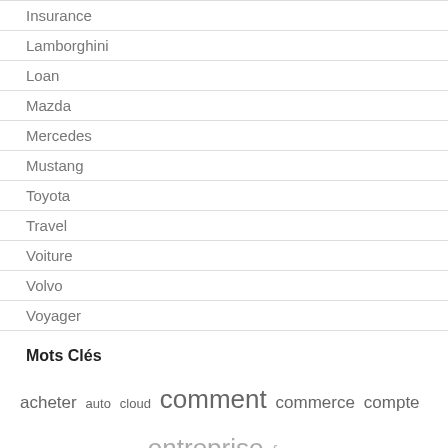Insurance
Lamborghini
Loan
Mazda
Mercedes
Mustang
Toyota
Travel
Voiture
Volvo
Voyager
Mots Clés
acheter auto cloud comment commerce compte crédit crypto digital entreprise forex